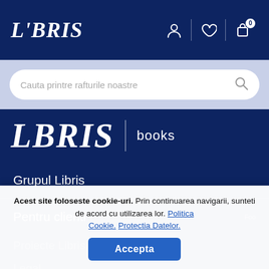LIBRIS — navigation header with user, wishlist, and cart icons
Cauta printre rafturile noastre
[Figure (logo): LIBRIS books logo — large serif italic LIBRIS text with vertical divider and 'books' label]
Grupul Libris
Pentru clienti
Suport eBook
Proiecte Libris
Legal
Acest site foloseste cookie-uri. Prin continuarea navigarii, sunteti de acord cu utilizarea lor. Politica Cookie. Protectia Datelor.
Accepta